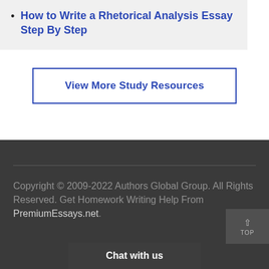How to Write a Rhetorical Analysis Essay Step By Step
View More Study Resources
Copyright © 2009-2022 Authors Global Group. All Rights Reserved. Get Homework Writing Help From PremiumEssays.net.